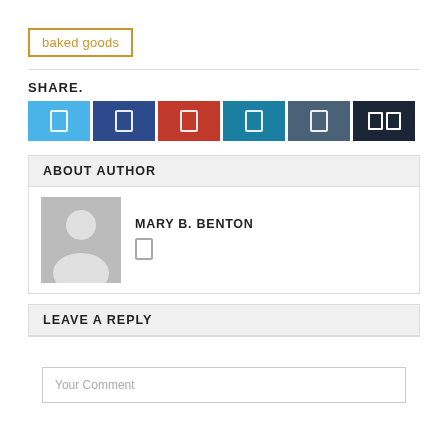baked goods
SHARE.
[Figure (infographic): Six social share buttons: Twitter (light blue), Facebook (dark blue), Pinterest (red), LinkedIn (teal), VK (slate blue), and a dark double-box icon button]
ABOUT AUTHOR
[Figure (photo): Generic user avatar silhouette on grey background]
MARY B. BENTON
LEAVE A REPLY
Your Comment